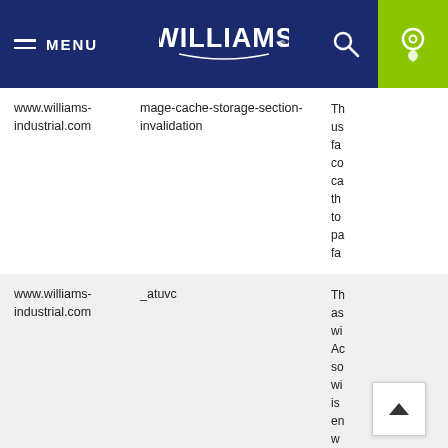[Figure (screenshot): Williams Industrial website navigation bar with hamburger menu, WILLIAMS logo, search icon, and location icon on dark navy background with green location button]
| Domain | Cookie Name | Description |
| --- | --- | --- |
| www.williams-industrial.com | mage-cache-storage-section-invalidation | Th us fa co ca th to pa fa |
| www.williams-industrial.com | _atuvc | Th as wi Ac so wi is en w en vi sh |